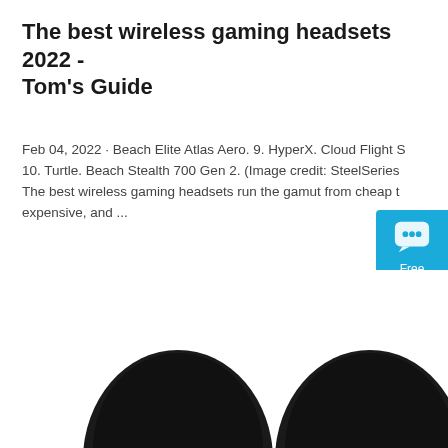The best wireless gaming headsets 2022 - Tom's Guide
Feb 04, 2022 · Beach Elite Atlas Aero. 9. HyperX. Cloud Flight S. 10. Turtle. Beach Stealth 700 Gen 2. (Image credit: SteelSeries) The best wireless gaming headsets run the gamut from cheap to expensive, and ...
[Figure (other): Orange 'Get Price' button]
[Figure (other): Blue chat widget with speech bubble icon, 'Free Chat' label]
[Figure (photo): Two black wireless gaming earbuds/headsets shown from above on white background]